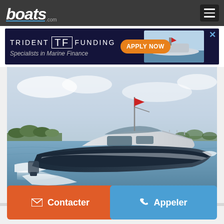boats.com
[Figure (infographic): Trident Funding advertisement banner — dark navy background with 'TRIDENT TF FUNDING Specialists in Marine Finance' text, orange 'APPLY NOW' button, speedboat image on right, close X button]
[Figure (photo): A white and dark blue sport cruiser motorboat speeding across open water, flag flying, with green shoreline and light blue sky in background]
Contacter
Appeler